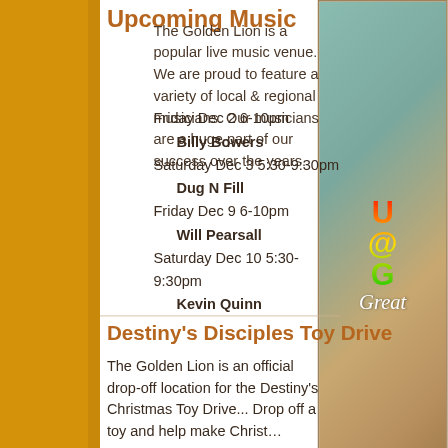Upcoming Music
The Golden Lion is a popular live music venue. We are proud to feature a variety of local & regional musicians. Our musicians are a huge part of our success over the years.
Friday Dec 2 6-10pm
    Billy Bowers
Saturday Dec 3 5:30-9:30pm
    Dug N Fill
Friday Dec 9 6-10pm
    Will Pearsall
Saturday Dec 10 5:30-9:30pm
    Kevin Quinn
[Figure (photo): Colorful reggae-style sign with text partially visible including 'Great' in script, teal wood background with red, yellow and green lettering, hanging wooden sign]
Destiny's Disciples Toy Drive
The Golden Lion is an official drop-off location for the Destiny's Christmas Toy Drive... Drop off a toy and help make Christmas